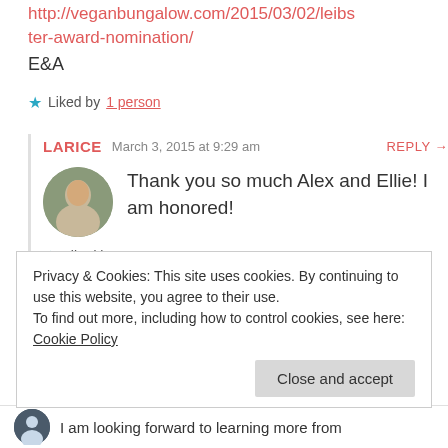http://veganbungalow.com/2015/03/02/leibster-award-nomination/
E&A
★ Liked by 1 person
LARICE   March 3, 2015 at 9:29 am   REPLY →
Thank you so much Alex and Ellie! I am honored!
★ Liked by 1 person
Privacy & Cookies: This site uses cookies. By continuing to use this website, you agree to their use.
To find out more, including how to control cookies, see here: Cookie Policy
Close and accept
I am looking forward to learning more from